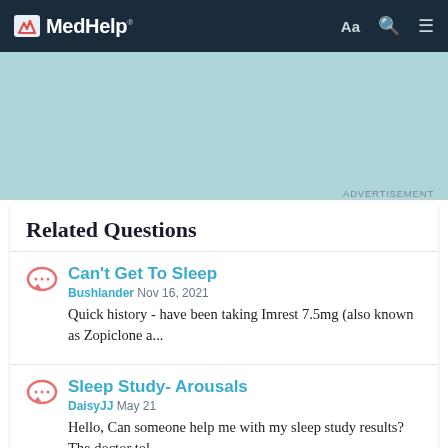MedHelp  Aa  🔍  ☰
[Figure (other): Teal/light blue advertisement banner area]
ADVERTISEMENT
Related Questions
Can't Get To Sleep
Bushlander Nov 16, 2021
Quick history - have been taking Imrest 7.5mg (also known as Zopiclone a...
Sleep Study- Arousals
DaisyJJ May 21
Hello, Can someone help me with my sleep study results? The doctor tol...
Please, help me..
mplsm Jun 30, 2021